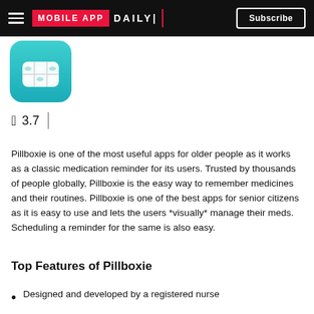MOBILE APP DAILY | Subscribe
[Figure (illustration): Pillboxie app icon — teal rounded square with a white pill organizer illustration]
3.7
Pillboxie is one of the most useful apps for older people as it works as a classic medication reminder for its users. Trusted by thousands of people globally, Pillboxie is the easy way to remember medicines and their routines. Pillboxie is one of the best apps for senior citizens as it is easy to use and lets the users *visually* manage their meds. Scheduling a reminder for the same is also easy.
Top Features of Pillboxie
Designed and developed by a registered nurse